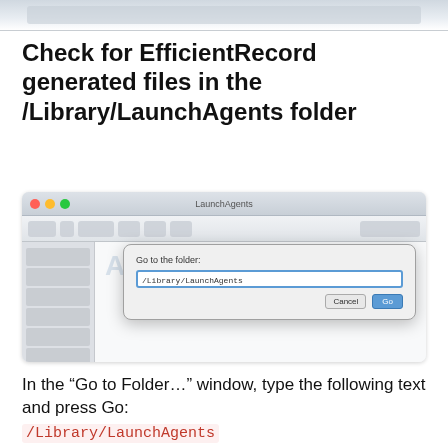[Figure (screenshot): Partial screenshot of a macOS Finder window (top bar/partial) visible at the very top of the page, cropped]
Check for EfficientRecord generated files in the /Library/LaunchAgents folder
[Figure (screenshot): Screenshot of macOS Finder with a 'Go to Folder...' dialog open, showing the path '/Library/LaunchAgents' typed in the input field, with Cancel and Go buttons]
In the “Go to Folder…” window, type the following text and press Go:
/Library/LaunchAgents